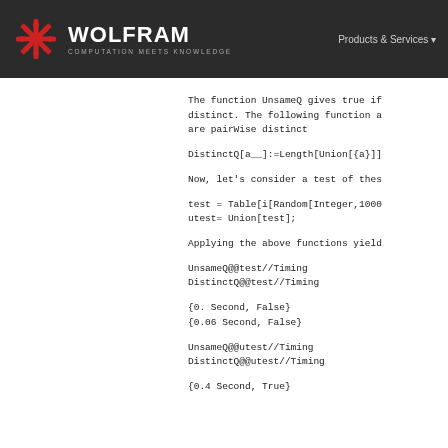WOLFRAM COMPUTATION MEETS KNOWLEDGE | Products & Services
The function UnsameQ gives true if distinct. The following function a are pairwise distinct
Now, let's consider a test of thes
Applying the above functions yield